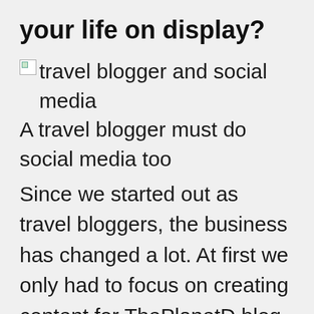your life on display?
[Figure (photo): Broken image icon representing travel blogger and social media image]
travel blogger and social media
A travel blogger must do social media too
Since we started out as travel bloggers, the business has changed a lot. At first we only had to focus on creating content for ThePlanetD blog.